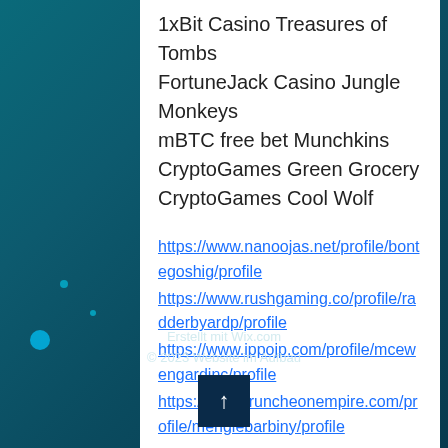1xBit Casino Treasures of Tombs
FortuneJack Casino Jungle Monkeys
mBTC free bet Munchkins
CryptoGames Green Grocery
CryptoGames Cool Wolf
https://www.nanoojas.net/profile/bontegoshig/profile
https://www.rushgaming.co/profile/radderbyardp/profile
https://www.ippojp.com/profile/mcewengardinc/profile
https://www.truncheonempire.com/profile/menglebarbiny/profile
Erstellt mit Wix.com
© 2023 Website im Aufbau